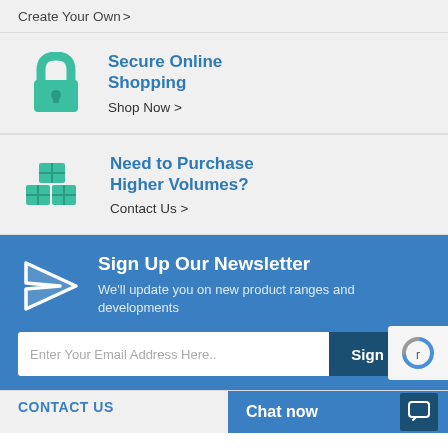Create Your Own >
Secure Online Shopping
Shop Now >
Need to Purchase Higher Volumes?
Contact Us >
Sign Up Our Newsletter
We'll update you on new product ranges and developments
Enter Your Email Address Here..
Sign Up
Chat now